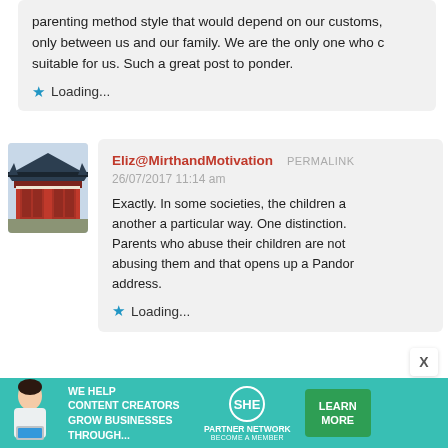parenting method style that would depend on our customs, only between us and our family. We are the only one who c suitable for us. Such a great post to ponder.
Loading...
[Figure (photo): Avatar image of a Japanese temple gate (red torii/gate structure) used as commenter profile picture]
Eliz@MirthandMotivation PERMALINK
26/07/2017 11:14 am
Exactly. In some societies, the children a another a particular way. One distinction. Parents who abuse their children are not abusing them and that opens up a Pandor address.
Loading...
[Figure (infographic): Advertisement banner: WE HELP CONTENT CREATORS GROW BUSINESSES THROUGH... SHE PARTNER NETWORK BECOME A MEMBER LEARN MORE]